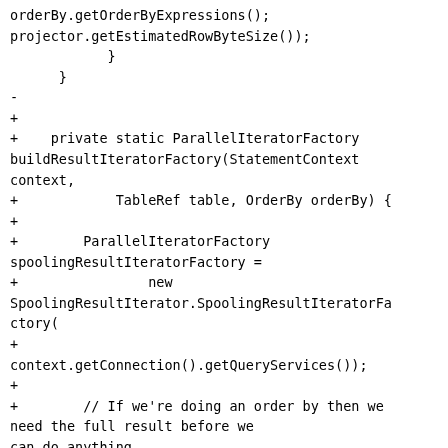orderBy.getOrderByExpressions();
projector.getEstimatedRowByteSize());
            }
      }
-
+
+    private static ParallelIteratorFactory buildResultIteratorFactory(StatementContext context,
+            TableRef table, OrderBy orderBy) {
+
+        ParallelIteratorFactory spoolingResultIteratorFactory =
+                new SpoolingResultIterator.SpoolingResultIteratorFactory(
+
context.getConnection().getQueryServices());
+
+        // If we're doing an order by then we need the full result before we can do anything,
+        // so we don't bother chunking it. If
we're just doing a simple scan...